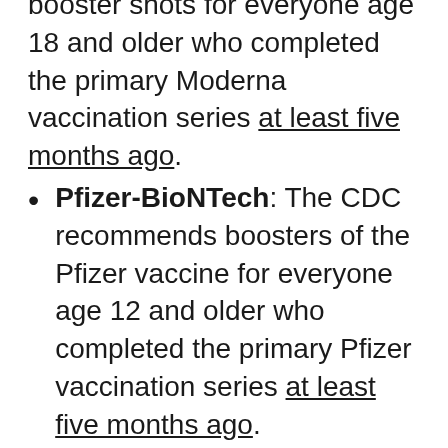booster shots for everyone age 18 and older who completed the primary Moderna vaccination series at least five months ago.
Pfizer-BioNTech: The CDC recommends boosters of the Pfizer vaccine for everyone age 12 and older who completed the primary Pfizer vaccination series at least five months ago.
Johnson & Johnson: The CDC recommends boosters of the Johnson & Johnson vaccine for those who are 18 and older who were vaccinated two or more months ago